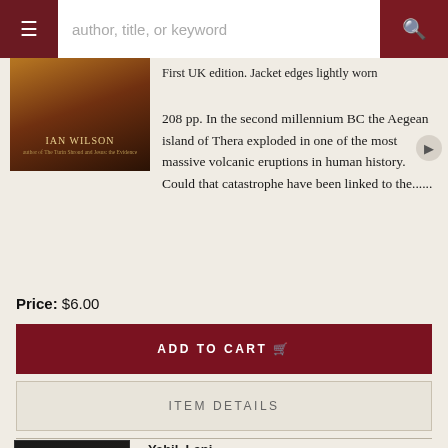[Figure (screenshot): Navigation bar with hamburger menu, search input placeholder 'author, title, or keyword', and search button]
[Figure (photo): Book cover image - Ian Wilson book with desert/sky scene in warm amber tones]
First UK edition. Jacket edges lightly worn
208 pp. In the second millennium BC the Aegean island of Thera exploded in one of the most massive volcanic eruptions in human history. Could that catastrophe have been linked to the......
Price: $6.00
ADD TO CART
ITEM DETAILS
Yahil, Leni
Holocaust: The Fate of European Jewry, 1932-1945
[Figure (photo): Book cover for 'The Holocaust' - dark cover with stylized text]